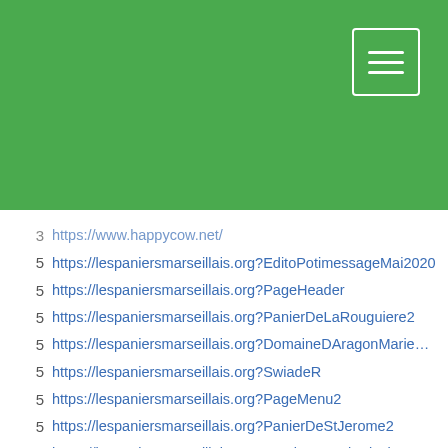[Figure (other): Green header banner with hamburger menu icon in top-right corner]
3  https://www.happycow.net/
5  https://lespaniersmarseillais.org?EditoPotimessageMai2020
5  https://lespaniersmarseillais.org?PageHeader
5  https://lespaniersmarseillais.org?PanierDeLaRouguiere2
5  https://lespaniersmarseillais.org?DomaineDAragonMarieChristine
5  https://lespaniersmarseillais.org?SwiadeR
5  https://lespaniersmarseillais.org?PageMenu2
5  https://lespaniersmarseillais.org?PanierDeStJerome2
5  https://lespaniersmarseillais.org?RemiTroncArboriculteur
5  https://lespaniersmarseillais.org?FichesArgumentaires01
4  https://lespaniersmarseillais.org?FetePaniers
4  http://ipoznan.net/
4  https://lespaniersmarseillais.org?PanierStGiniezMardi
4  https://lespaniersmarseillais.org?PanierDelemir2
4  https://lespaniersmarseillais.org?LaMilliere
4  http://wroclaw.one/
4  https://lespaniersmarseillais.org?CrCa0311
4  http://krakowskiye.eu/